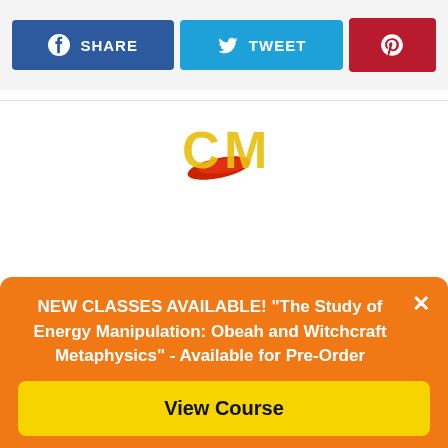[Figure (screenshot): Social share buttons: Facebook SHARE (blue), Twitter TWEET (light blue), Pinterest icon (dark red)]
[Figure (logo): CM logo with red swoosh graphic in yellow/gold letters]
NEW CLASSES AVAILABLE! "The Study of Energy Manipulation: Obeah and Witchcraft Metaphysics" - Available for Pre-Order
View Course
...s for studying. Since 2014, I have helped many people...